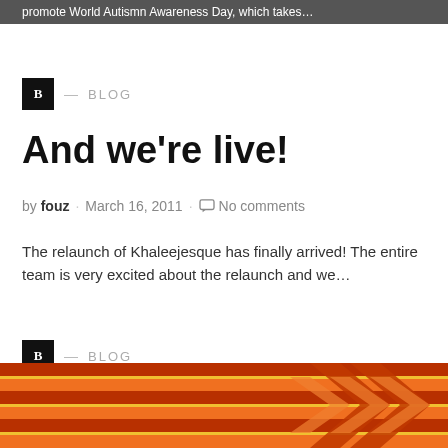promote World Autismn Awareness Day, which takes…
B — BLOG
And we're live!
by fouz · March 16, 2011 · No comments
The relaunch of Khaleejesque has finally arrived! The entire team is very excited about the relaunch and we…
B — BLOG
[Figure (illustration): Orange and red striped banner with chevron/arrow shapes on an orange background]